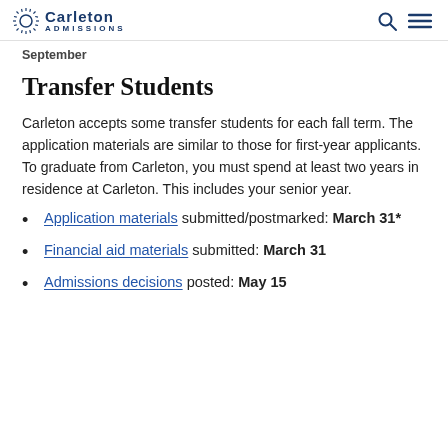Carleton ADMISSIONS
September
Transfer Students
Carleton accepts some transfer students for each fall term. The application materials are similar to those for first-year applicants. To graduate from Carleton, you must spend at least two years in residence at Carleton. This includes your senior year.
Application materials submitted/postmarked: March 31*
Financial aid materials submitted: March 31
Admissions decisions posted: May 15